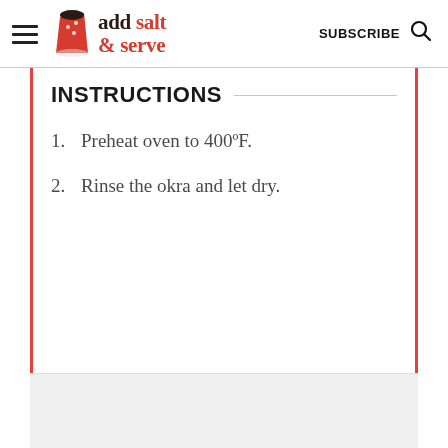add salt & serve | SUBSCRIBE
INSTRUCTIONS
Preheat oven to 400ºF.
Rinse the okra and let dry.